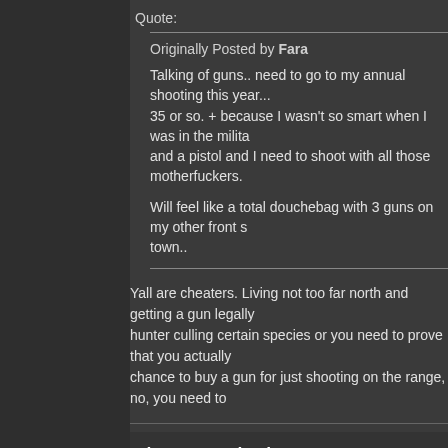Quote:
Originally Posted by Fara
Talking of guns.. need to go to my annual shooting this year... 35 or so. + because I wasn't so smart when I was in the milita and a pistol and I need to shoot with all those motherfuckers.
Will feel like a total douchebag with 3 guns on my other front s town..
Yall are cheaters. Living not too far north and getting a gun legally hunter culling certain species or you need to prove that you actually chance to buy a gun for just shooting on the range, no, you need to
The Crushah
Re: Gun fred
Quote:
Originally Posted by Fara
http://de.academic.ru/pictures/dewiki/115/stgw_90.jpg
Got this at home under my bed.